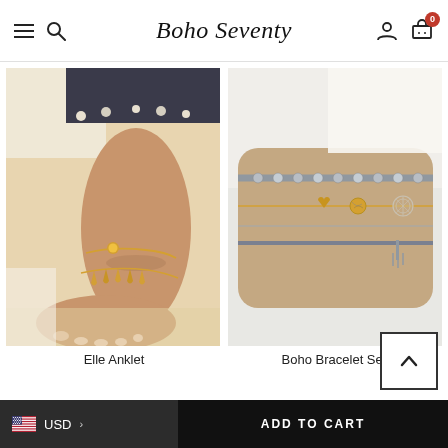Boho Seventy
[Figure (photo): Product photo of an anklet with gold shell charms on a person's ankle near the beach]
Elle Anklet
[Figure (photo): Product photo of a boho bracelet set with beads, heart charm, circular medallion, and tassel on a person's wrist]
Boho Bracelet Set
USD
ADD TO CART